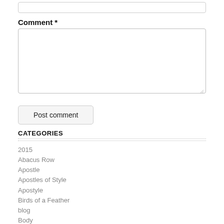[Figure (screenshot): A web form input box (text field) at the top of the page, partially visible]
Comment *
[Figure (screenshot): A large textarea input box for entering a comment]
Post comment
CATEGORIES
2015
Abacus Row
Apostle
Apostles of Style
Apostyle
Birds of a Feather
blog
Body
Breakfast
BT